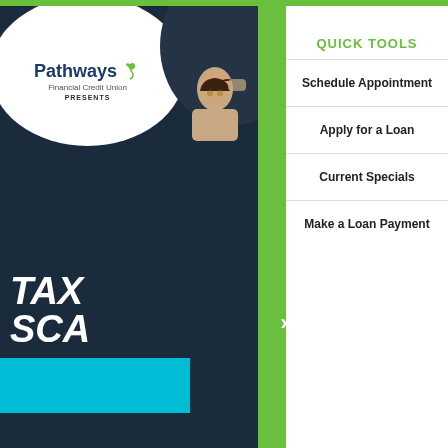[Figure (logo): Pathways Financial Credit Union logo with leaf icon, inside white oval, on dark background. Text: Pathways Financial Credit Union PRESENTS]
[Figure (photo): Person with hand on head, looking stressed, on dark oval background]
[Figure (illustration): TAX SCA text in white italic on dark background with cyan bar below]
QUICK TOOLS
Schedule Appointment
Apply for a Loan
Current Specials
Make a Loan Payment